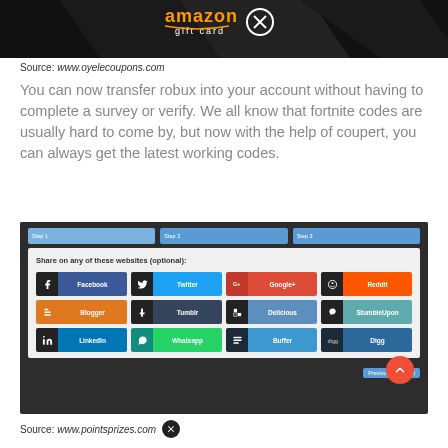[Figure (screenshot): Amazon gift card image (top portion visible, cropped)]
Source: www.oyelecoupons.com
You can now transfer robux into your account without having to complete a survey or verify. We all know that fortnite codes are usually hard to come by, but now with the help of coupert, you can always get the latest working codes.
[Figure (screenshot): Screenshot of a social sharing widget showing Step 1, Step 2, Step 3 tabs and social media share buttons: Facebook, Twitter, Google+, Reddit, Blogger, Tumblr, Delicious, StumbleUpon, LinkedIn, Whatsapp, Buffer, Digg. Previous and Next navigation buttons at bottom.]
Source: www.pointsprizes.com